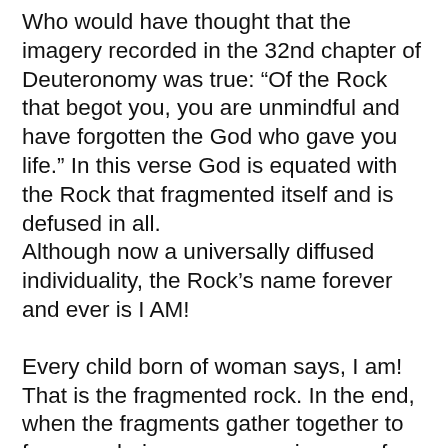Who would have thought that the imagery recorded in the 32nd chapter of Deuteronomy was true: “Of the Rock that begot you, you are unmindful and have forgotten the God who gave you life.” In this verse God is equated with the Rock that fragmented itself and is defused in all. Although now a universally diffused individuality, the Rock’s name forever and ever is I AM!
Every child born of woman says, I am! That is the fragmented rock. In the end, when the fragments gather together to form one being, you – wearing your face – will realize no one exists independent of your perception, for the world is contained within your own wonderful